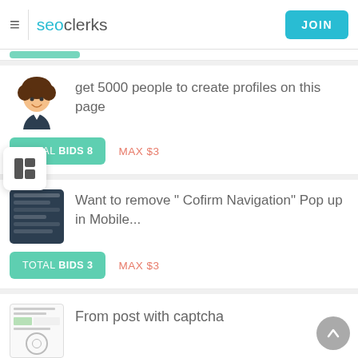seoclerks — JOIN
get 5000 people to create profiles on this page
TOTAL BIDS 8   MAX $3
Want to remove " Cofirm Navigation" Pop up in Mobile...
TOTAL BIDS 3   MAX $3
From post with captcha
TOTAL BIDS 3   MAX $20